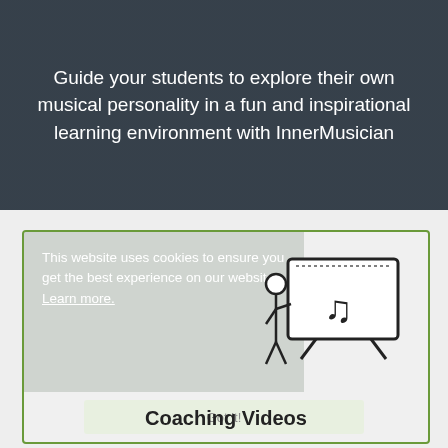Guide your students to explore their own musical personality in a fun and inspirational learning environment with InnerMusician
This website uses cookies to ensure you get the best experience on our website. Learn more.
[Figure (illustration): Icon of a person standing next to a presentation board/whiteboard displaying music notes, representing music coaching or teaching.]
Got it!
Coaching Videos